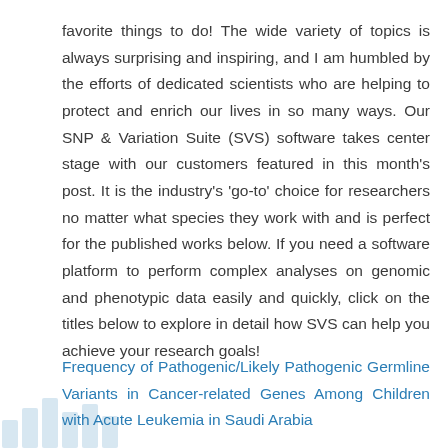favorite things to do! The wide variety of topics is always surprising and inspiring, and I am humbled by the efforts of dedicated scientists who are helping to protect and enrich our lives in so many ways. Our SNP & Variation Suite (SVS) software takes center stage with our customers featured in this month's post. It is the industry's 'go-to' choice for researchers no matter what species they work with and is perfect for the published works below. If you need a software platform to perform complex analyses on genomic and phenotypic data easily and quickly, click on the titles below to explore in detail how SVS can help you achieve your research goals!
Frequency of Pathogenic/Likely Pathogenic Germline Variants in Cancer-related Genes Among Children with Acute Leukemia in Saudi Arabia